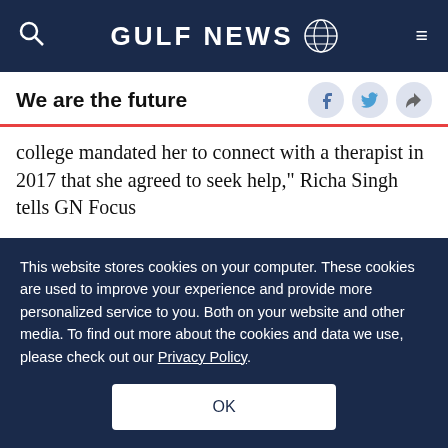GULF NEWS
We are the future
college mandated her to connect with a therapist in 2017 that she agreed to seek help," Richa Singh tells GN Focus
Mental health issues are more common than you might think. Responding sensitively to someone who seems to be feeling down or depressed and
This website stores cookies on your computer. These cookies are used to improve your experience and provide more personalized service to you. Both on your website and other media. To find out more about the cookies and data we use, please check out our Privacy Policy.
OK